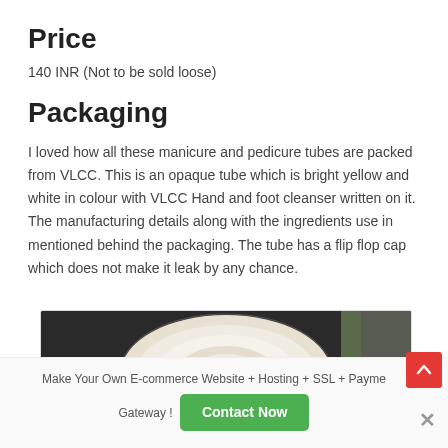Price
140 INR (Not to be sold loose)
Packaging
I loved how all these manicure and pedicure tubes are packed from VLCC. This is an opaque tube which is bright yellow and white in colour with VLCC Hand and foot cleanser written on it. The manufacturing details along with the ingredients use in mentioned behind the packaging. The tube has a flip flop cap which does not make it leak by any chance.
[Figure (photo): Close-up photo of the top of a white cosmetic tube cap with an orange center seal, set against a dark background.]
Make Your Own E-commerce Website + Hosting + SSL + Payment Gateway ! Contact Now